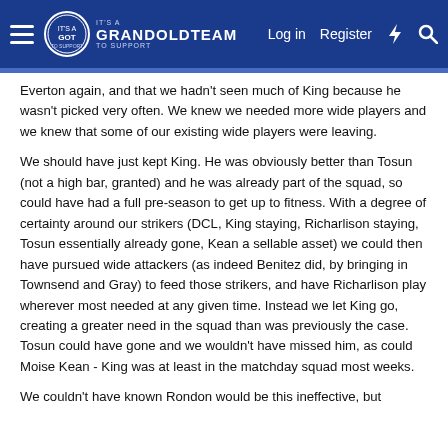IT'S A GRANDOLDTEAM TO SUPPORT — Log in   Register
Everton again, and that we hadn't seen much of King because he wasn't picked very often. We knew we needed more wide players and we knew that some of our existing wide players were leaving.
We should have just kept King. He was obviously better than Tosun (not a high bar, granted) and he was already part of the squad, so could have had a full pre-season to get up to fitness. With a degree of certainty around our strikers (DCL, King staying, Richarlison staying, Tosun essentially already gone, Kean a sellable asset) we could then have pursued wide attackers (as indeed Benitez did, by bringing in Townsend and Gray) to feed those strikers, and have Richarlison play wherever most needed at any given time. Instead we let King go, creating a greater need in the squad than was previously the case. Tosun could have gone and we wouldn't have missed him, as could Moise Kean - King was at least in the matchday squad most weeks.
We couldn't have known Rondon would be this ineffective, but ...